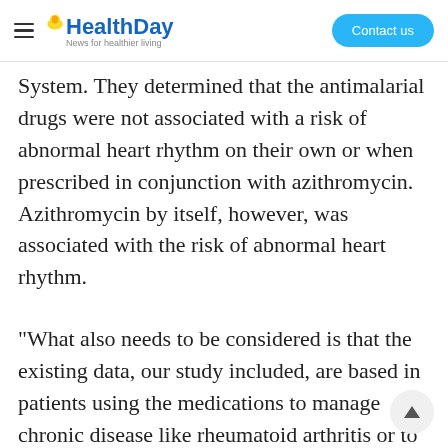HealthDay — News for healthier living | Contact us
System. They determined that the antimalarial drugs were not associated with a risk of abnormal heart rhythm on their own or when prescribed in conjunction with azithromycin. Azithromycin by itself, however, was associated with the risk of abnormal heart rhythm.
"What also needs to be considered is that the existing data, our study included, are based in patients using the medications to manage chronic disease like rheumatoid arthritis or to treat minor upper respiratory infections," Joshua Brown, Pharm.D., Ph.D. from the